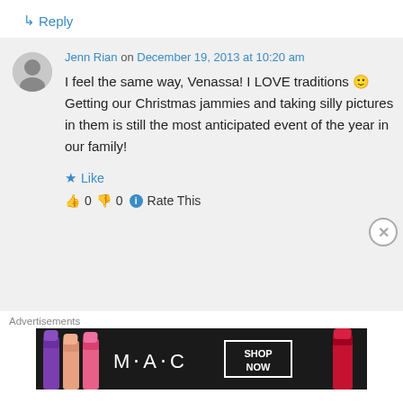↳ Reply
Jenn Rian on December 19, 2013 at 10:20 am
I feel the same way, Venassa! I LOVE traditions 🙂 Getting our Christmas jammies and taking silly pictures in them is still the most anticipated event of the year in our family!
★ Like
👍 0 👎 0 ℹ Rate This
Advertisements
[Figure (illustration): MAC Cosmetics advertisement banner showing colorful lipsticks, MAC logo text, and a SHOP NOW box on dark background]